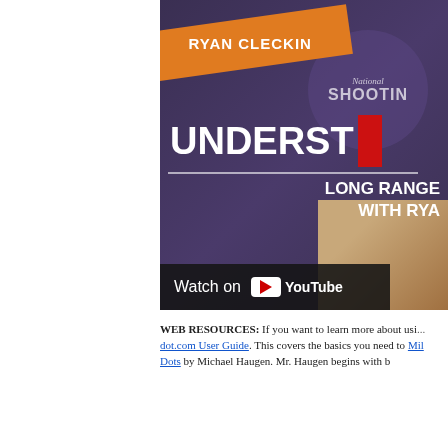[Figure (screenshot): YouTube video thumbnail for 'Understanding Mils (Milliradians)' by Ryan Cleckner, featuring NSSF logo, orange diagonal banner with 'RYAN CLECKNER', purple National Shooting Sports Foundation watermark, large white text 'UNDERST' with red box (YouTube play button), subtitle 'LONG RANGE WITH RYA', a person in the lower right, and a 'Watch on YouTube' bar at the bottom.]
WEB RESOURCES: If you want to learn more about using mils, check out the Snipershide dot.com User Guide. This covers the basics you need to know. Also check out Mil Dots by Michael Haugen. Mr. Haugen begins with b...